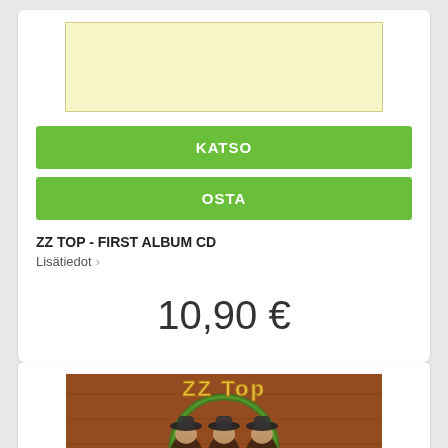[Figure (photo): Light yellow placeholder image with border]
KATSO
OSTA
ZZ TOP - FIRST ALBUM CD
Lisätiedot ›
10,90 €
[Figure (photo): ZZ Top album cover — warm brown/orange background with band members in cowboy hats and ZZ Top logo text]